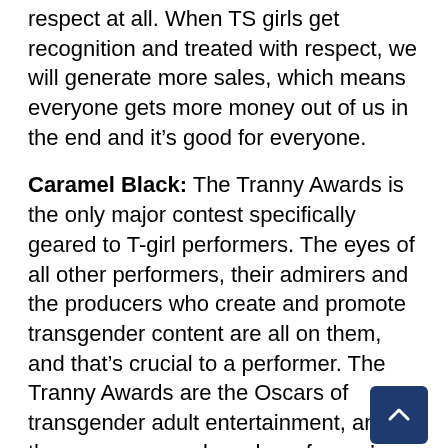respect at all. When TS girls get recognition and treated with respect, we will generate more sales, which means everyone gets more money out of us in the end and it's good for everyone.
Caramel Black: The Tranny Awards is the only major contest specifically geared to T-girl performers. The eyes of all other performers, their admirers and the producers who create and promote transgender content are all on them, and that's crucial to a performer. The Tranny Awards are the Oscars of transgender adult entertainment, and the exposure can launch performer's career into the stratosphere. I've seen it happen to the nominees and winners of the first and second annual Tranny Awards. Being nominated is an honor and career booster in itself.
GS: I'm not sure of their importance, but they are appreciated. It's a chance for the models and fans to s are the fan favorites and for the DVD producers to see what